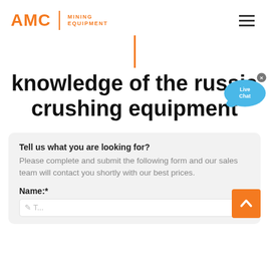AMC MINING EQUIPMENT
[Figure (other): Orange vertical divider bar centered on page]
knowledge of the russian crushing equipment
[Figure (other): Live Chat speech bubble widget with blue chat bubble and 'x' close button]
Tell us what you are looking for?
Please complete and submit the following form and our sales team will contact you shortly with our best prices.
Name:*